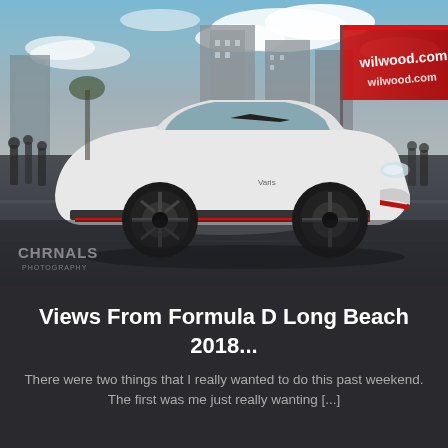[Figure (photo): A wide-body white modified sports car (Toyota GT86/Scion FR-S) with black wheels and red accent trim on front splitter, parked at what appears to be Formula D Long Beach 2018 event. Background shows high-rise buildings, a red Wilwood.com branded tent/canopy, and spectators. Overcast sky with partial sun. CHRNALS Photography watermark visible in lower left corner.]
Views From Formula D Long Beach 2018...
There were two things that I really wanted to do this past weekend. The first was me just really wanting [...]